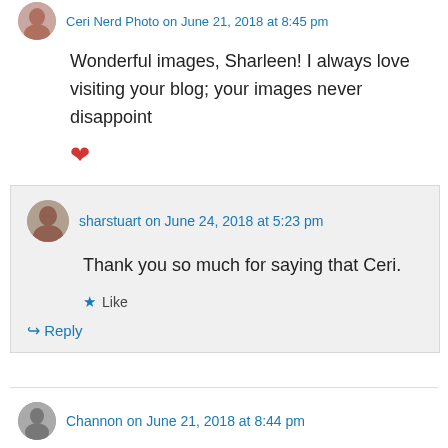Ceri Nerd Photo on June 21, 2018 at 8:45 pm
Wonderful images, Sharleen! I always love visiting your blog; your images never disappoint ❤
★ Liked by 1 person
↳ Reply
sharstuart on June 24, 2018 at 5:23 pm
Thank you so much for saying that Ceri.
★ Like
↳ Reply
Channon on June 21, 2018 at 8:44 pm